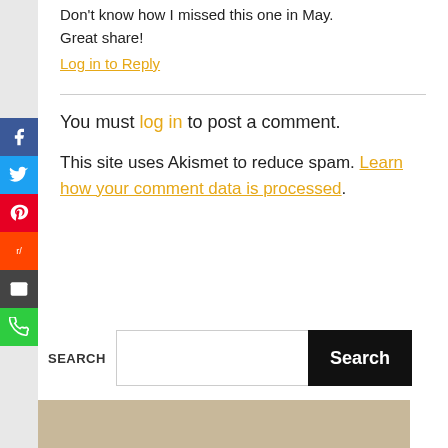Don't know how I missed this one in May. Great share!
Log in to Reply
You must log in to post a comment.
This site uses Akismet to reduce spam. Learn how your comment data is processed.
SEARCH
[Figure (photo): Photo strip at bottom of page showing a person]